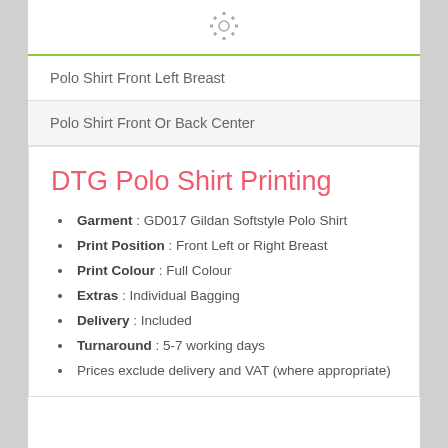[Figure (logo): Gear/cog icon logo in grey]
Polo Shirt Front Left Breast
Polo Shirt Front Or Back Center
DTG Polo Shirt Printing
Garment : GD017 Gildan Softstyle Polo Shirt
Print Position : Front Left or Right Breast
Print Colour : Full Colour
Extras : Individual Bagging
Delivery : Included
Turnaround : 5-7 working days
Prices exclude delivery and VAT (where appropriate)